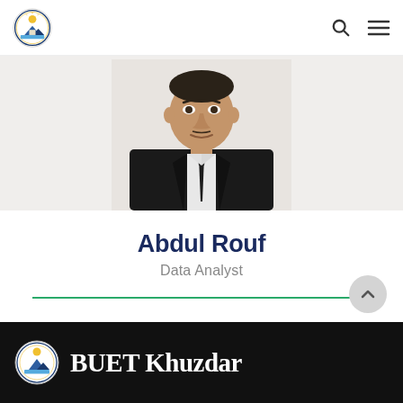BUET Khuzdar university logo, search icon, menu icon
[Figure (photo): Headshot photo of Abdul Rouf, a middle-aged man wearing a dark suit and tie, against a light background]
Abdul Rouf
Data Analyst
BUET Khuzdar